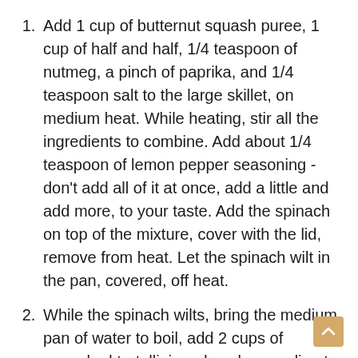Add 1 cup of butternut squash puree, 1 cup of half and half, 1/4 teaspoon of nutmeg, a pinch of paprika, and 1/4 teaspoon salt to the large skillet, on medium heat. While heating, stir all the ingredients to combine. Add about 1/4 teaspoon of lemon pepper seasoning - don't add all of it at once, add a little and add more, to your taste. Add the spinach on top of the mixture, cover with the lid, remove from heat. Let the spinach wilt in the pan, covered, off heat.
While the spinach wilts, bring the medium pan of water to boil, add 2 cups of uncooked tortellini, and cook according to the package instructions (usually 7 - 10 minutes in boiling water). Once the tortellini is cooked, drain the water.
Add cooked and drained tortellini to the skillet with the butternut squash sauce and spinach and stir to combine. If the sauce is too thick, add more half and